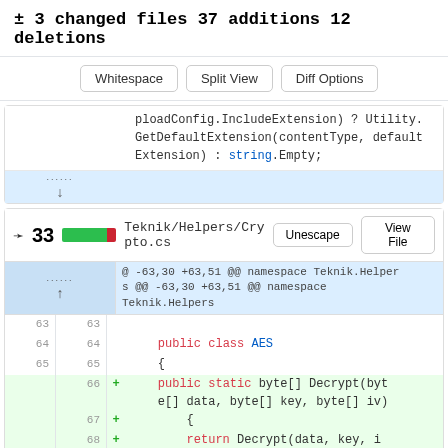± 3 changed files 37 additions 12 deletions
Whitespace | Split View | Diff Options
ploadConfig.IncludeExtension) ? Utility.GetDefaultExtension(contentType, defaultExtension) : string.Empty;
[Figure (screenshot): Expand/collapse diff hunk icon]
∨ 33  Teknik/Helpers/Crypto.cs  Unescape  View File
@ -63,30 +63,51 @@ namespace Teknik.Helpers @@ -63,30 +63,51 @@ namespace Teknik.Helpers
63  63
64  64      public class AES
65  65      {
    66 +      public static byte[] Decrypt(byte[] data, byte[] key, byte[] iv)
    67 +      {
    68 +          return Decrypt(data, key, i
v, "CTR", "NoPadding");